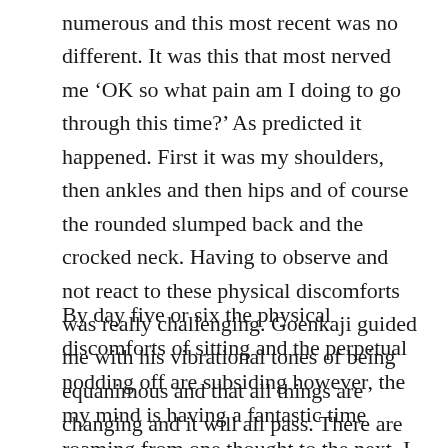numerous and this most recent was no different.  It was this that most nerved me ‘OK so what pain am I doing to go through this time?’  As predicted it happened.  First it was my shoulders, then ankles and then hips and of course the rounded slumped back and the crocked neck.  Having to observe and not react to these physical discomforts was really challenging.  Goenkaji guided me with his vibrational tones of being equanimous and that all things are changing and it will all pass.  There are several time that I don’t quiet believe him.
By day five or six the physical discomforts of sitting and the perpetual nodding off are subsiding however, the my mind is having a fantastic time roaming from one thought to the next.  I was surprised at the number of mundane things that can come up like cleaning the inside of my car to sorting out my sock drawer to recycling my old clothes,.. the power of the frittering